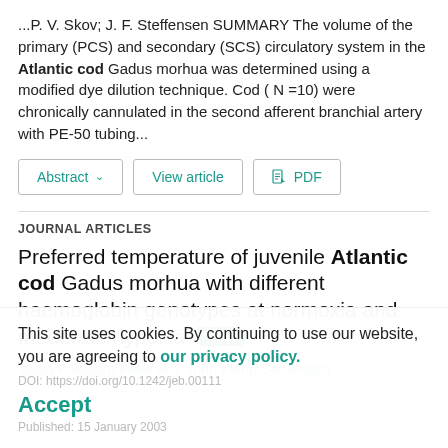...P. V. Skov; J. F. Steffensen SUMMARY The volume of the primary (PCS) and secondary (SCS) circulatory system in the Atlantic cod Gadus morhua was determined using a modified dye dilution technique. Cod ( N =10) were chronically cannulated in the second afferent branchial artery with PE-50 tubing...
Abstract ∨
View article
PDF
JOURNAL ARTICLES
Preferred temperature of juvenile Atlantic cod Gadus morhua with different haemoglobin genotypes at normoxia and moderate hypoxia
Maria Faldborg Petersen, John Fleng Steffensen
Journal: Journal of Experimental Biology
This site uses cookies. By continuing to use our website, you are agreeing to our privacy policy. Accept